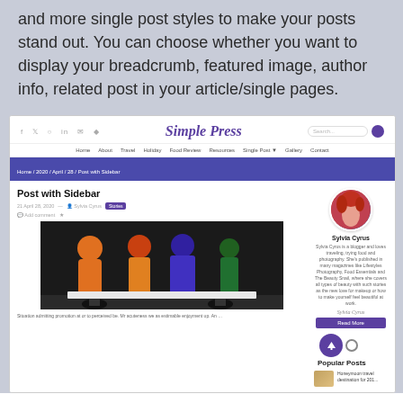and more single post styles to make your posts stand out. You can choose whether you want to display your breadcrumb, featured image, author info, related post in your article/single pages.
[Figure (screenshot): Screenshot of a WordPress blog theme called 'Simple Press' showing a blog post page with sidebar, navigation menu, breadcrumb bar, a fashion photo post titled 'Post with Sidebar', and a sidebar with author profile for Sylvia Cyrus, Read More button, scroll-to-top button, and Popular Posts section.]